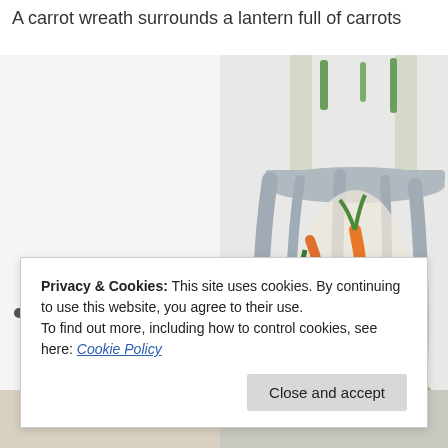A carrot wreath surrounds a lantern full of carrots
[Figure (photo): A lantern-style decorative object with a grey wooden frame, containing orange carrots and green plants inside, visible through the glass panels.]
•
Privacy & Cookies: This site uses cookies. By continuing to use this website, you agree to their use.
To find out more, including how to control cookies, see here: Cookie Policy
Close and accept